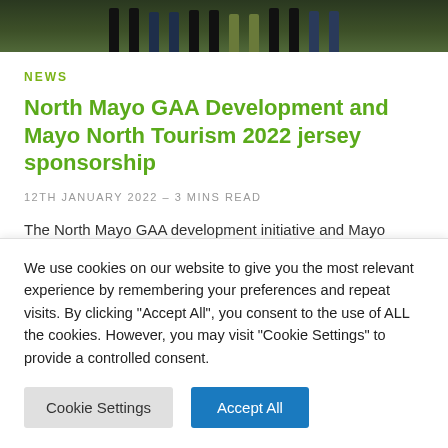[Figure (photo): Cropped photo showing legs and boots of several people standing on grass, visible from knee down]
NEWS
North Mayo GAA Development and Mayo North Tourism 2022 jersey sponsorship
12TH JANUARY 2022 – 3 MINS READ
The North Mayo GAA development initiative and Mayo North Tourism, along with a number of local businesses, have teamed up...
We use cookies on our website to give you the most relevant experience by remembering your preferences and repeat visits. By clicking "Accept All", you consent to the use of ALL the cookies. However, you may visit "Cookie Settings" to provide a controlled consent.